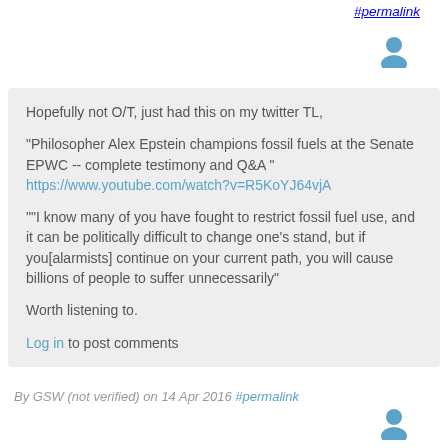#permalink
[Figure (illustration): User avatar icon (top right)]
Hopefully not O/T, just had this on my twitter TL,

"Philosopher Alex Epstein champions fossil fuels at the Senate EPWC -- complete testimony and Q&A "
https://www.youtube.com/watch?v=R5KoYJ64vjA

""I know many of you have fought to restrict fossil fuel use, and it can be politically difficult to change one's stand, but if you[alarmists] continue on your current path, you will cause billions of people to suffer unnecessarily"

Worth listening to.

Log in to post comments
By GSW (not verified) on 14 Apr 2016 #permalink
[Figure (illustration): User avatar icon (bottom right)]